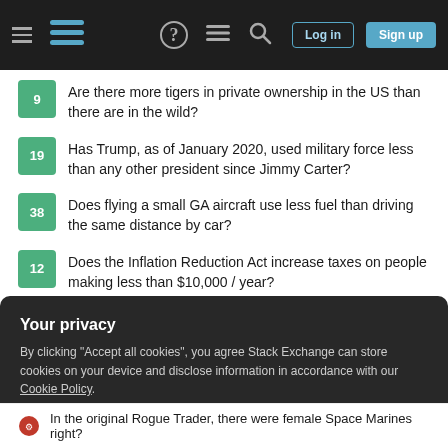Stack Exchange navigation bar with Log in and Sign up buttons
9 — Are there more tigers in private ownership in the US than there are in the wild?
19 — Has Trump, as of January 2020, used military force less than any other president since Jimmy Carter?
38 — Does flying a small GA aircraft use less fuel than driving the same distance by car?
12 — Does the Inflation Reduction Act increase taxes on people making less than $10,000 / year?
Hot Network Questions
If Aluminum was non-reactive, could there have been an "Aluminum
Your privacy
By clicking "Accept all cookies", you agree Stack Exchange can store cookies on your device and disclose information in accordance with our Cookie Policy.
Accept all cookies  Customize settings
In the original Rogue Trader, there were female Space Marines right?